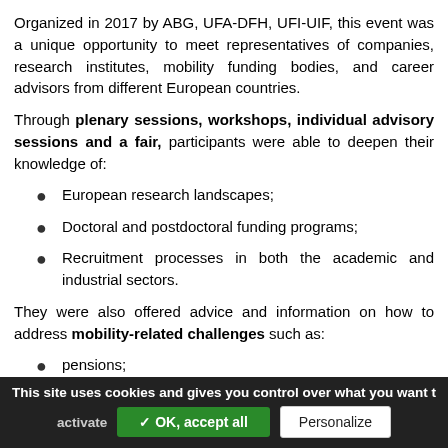Organized in 2017 by ABG, UFA-DFH, UFI-UIF, this event was a unique opportunity to meet representatives of companies, research institutes, mobility funding bodies, and career advisors from different European countries.
Through plenary sessions, workshops, individual advisory sessions and a fair, participants were able to deepen their knowledge of:
European research landscapes;
Doctoral and postdoctoral funding programs;
Recruitment processes in both the academic and industrial sectors.
They were also offered advice and information on how to address mobility-related challenges such as:
pensions;
dual-career couples;
This site uses cookies and gives you control over what you want to activate  ✓ OK, accept all  Personalize